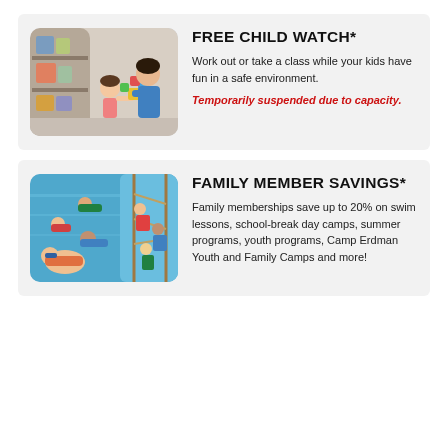[Figure (photo): A childcare worker in a blue shirt helping a young girl play with colorful building blocks in a child watch room with shelves of toys in the background.]
FREE CHILD WATCH*
Work out or take a class while your kids have fun in a safe environment.
Temporarily suspended due to capacity.
[Figure (photo): A composite photo showing children swimming underwater and children on a ropes/climbing course activity.]
FAMILY MEMBER SAVINGS*
Family memberships save up to 20% on swim lessons, school-break day camps, summer programs, youth programs, Camp Erdman Youth and Family Camps and more!